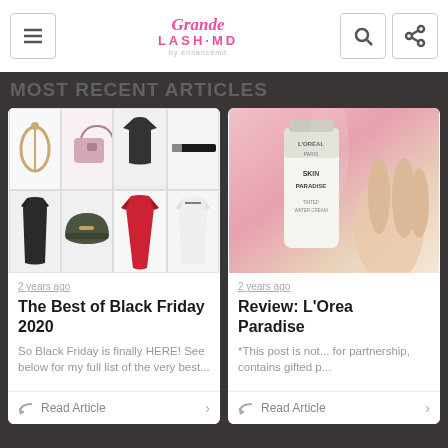Grande LASH·MD
MOST RECENT ARTICLES
[Figure (photo): Fashion collage grid showing jewelry, handbag, black top, belt, dark dress, olive hat, red dress, white blouse]
2 years ago
The Best of Black Friday 2020
So Black Friday is finally HERE! See below for my full list of the very best...
Read Article
[Figure (photo): Hand holding L'Oreal Skin Paradise tinted water cream tube against pink background]
2 years ago
Review: L'Orea... Paradise
*This post is not... for partnership, contains gifted p...
Read Article